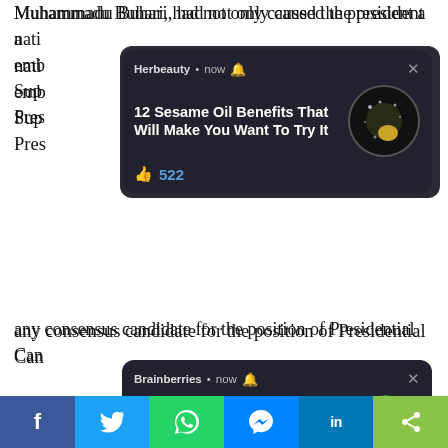Muhammadu Buhari, had not only caused the president a national embarrassment. It is commendable that Mr. President has instantly disassociated himself from the sham consensus candidate announced by Senator Adamu, which has caused serious disagreement in the party's
[Figure (screenshot): Notification card from Herbeauty: '12 Sesame Oil Benefits That Will Make You Want To Try It' with 522 likes, circular image of sesame seeds]
any consensus candidate for the position of Presidential Can
[Figure (screenshot): Notification card from Brainberries: 'The Cast Of Freaks And Geeks 22 Years Later' with 499 likes, circular image of a man with glasses]
"The ... the ... name ...
President a national disgrace but also international embarrassment. It is commendable that Mr. President has instantly disassociated himself from the sham consensus candidate announced by Senator Adamu, which has caused serious disagreement in the party's
[Figure (infographic): Social media share bar with Facebook, Twitter, WhatsApp, Messenger, LinkedIn, and share buttons]